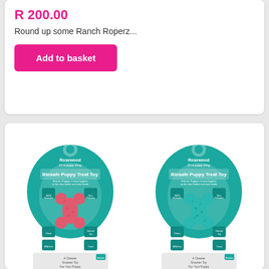R 200.00
Round up some Ranch Roperz...
Add to basket
[Figure (photo): Two Rosewood Biosafe Puppy Treat Toy packages side by side — one pink/red toy and one teal/blue toy, both shown in teal circular blister packaging with feature icons around the toy.]